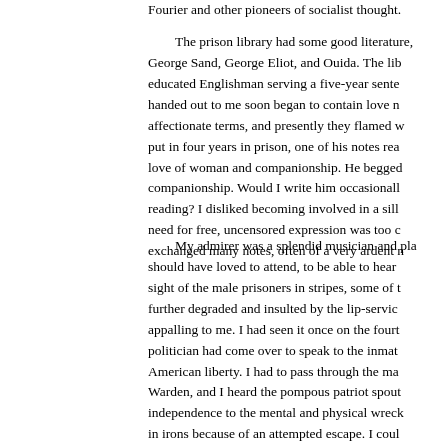Fourier and other pioneers of socialist thought.
The prison library had some good literature, George Sand, George Eliot, and Ouida. The lib educated Englishman serving a five-year sente handed out to me soon began to contain love n affectionate terms, and presently they flamed w put in four years in prison, one of his notes rea love of woman and companionship. He begged companionship. Would I write him occasionall reading? I disliked becoming involved in a sill need for free, uncensored expression was too c exchanged many notes, often of a very ardent n
My admirer was a splendid musician and pla should have loved to attend, to be able to hear sight of the male prisoners in stripes, some of t further degraded and insulted by the lip-servic appalling to me. I had seen it once on the fourt politician had come over to speak to the inmat American liberty. I had to pass through the ma Warden, and I heard the pompous patriot spout independence to the mental and physical wreck in irons because of an attempted escape. I coul chains with his every movement. I could not b